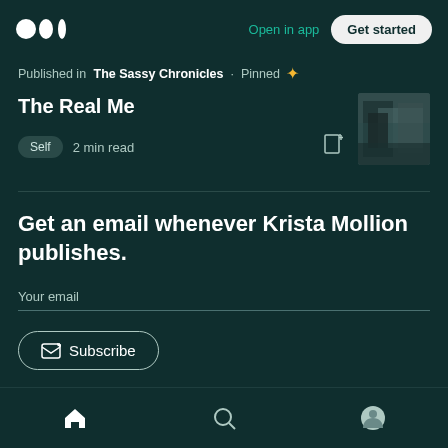Open in app · Get started
Published in The Sassy Chronicles · Pinned
The Real Me
Self  2 min read
[Figure (photo): Thumbnail image for the article 'The Real Me']
Get an email whenever Krista Mollion publishes.
Your email
Subscribe